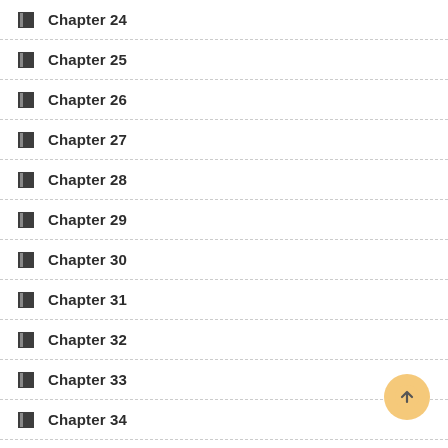Chapter 24
Chapter 25
Chapter 26
Chapter 27
Chapter 28
Chapter 29
Chapter 30
Chapter 31
Chapter 32
Chapter 33
Chapter 34
Chapter 35